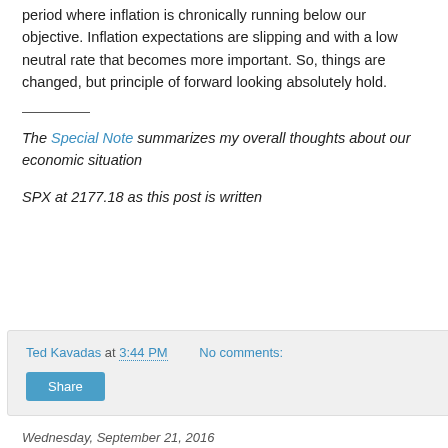period where inflation is chronically running below our objective. Inflation expectations are slipping and with a low neutral rate that becomes more important. So, things are changed, but principle of forward looking absolutely hold.
The Special Note summarizes my overall thoughts about our economic situation
SPX at 2177.18 as this post is written
Ted Kavadas at 3:44 PM   No comments:   Share
Wednesday, September 21, 2016